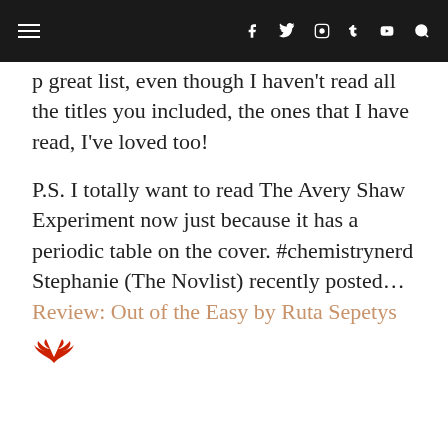Navigation bar with menu icon and social media icons (Facebook, Twitter, Instagram, Tumblr, YouTube, Search)
p great list, even though I haven't read all the titles you included, the ones that I have read, I've loved too!
P.S. I totally want to read The Avery Shaw Experiment now just because it has a periodic table on the cover. #chemistrynerd Stephanie (The Novlist) recently posted…Review: Out of the Easy by Ruta Sepetys